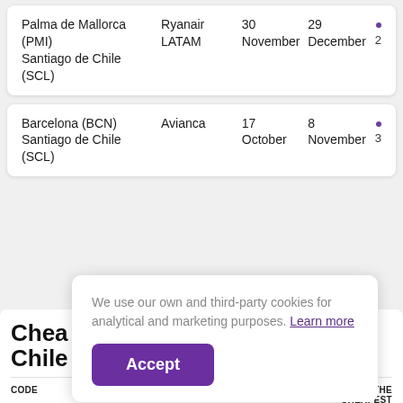| Destination | Airline | Departure | Return |  |
| --- | --- | --- | --- | --- |
| Palma de Mallorca (PMI)
Santiago de Chile (SCL) | Ryanair
LATAM | 30 November | 29 December | 2 |
| Destination | Airline | Departure | Return |  |
| --- | --- | --- | --- | --- |
| Barcelona (BCN)
Santiago de Chile (SCL) | Avianca | 17 October | 8 November | 3 |
We use our own and third-party cookies for analytical and marketing purposes. Learn more
Accept
Chea Chile
| CODE | AIRLINE | % SEARCHES | % BEING THE CHEAPEST |
| --- | --- | --- | --- |